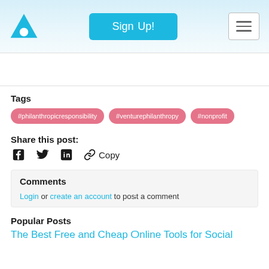Sign Up!
Tags
#philanthropicresponsibility
#venturephilanthropy
#nonprofit
Share this post:
Copy
Comments
Login or create an account to post a comment
Popular Posts
The Best Free and Cheap Online Tools for Social